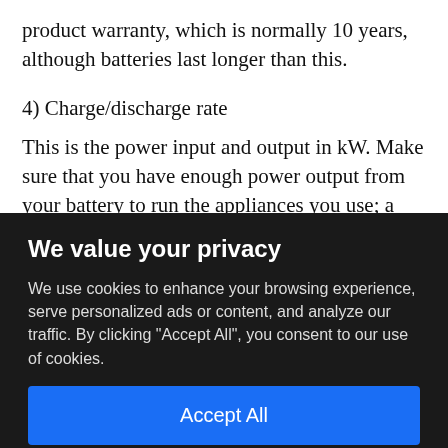product warranty, which is normally 10 years, although batteries last longer than this.
4) Charge/discharge rate
This is the power input and output in kW. Make sure that you have enough power output from your battery to run the appliances you use; a 5kW output can run a kettle, tumble drier or electric fire, but a 2 kW output probably
We value your privacy
We use cookies to enhance your browsing experience, serve personalized ads or content, and analyze our traffic. By clicking "Accept All", you consent to our use of cookies.
Accept All
Customize
Reject All